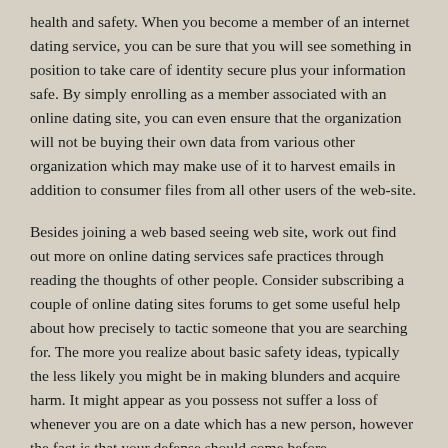health and safety. When you become a member of an internet dating service, you can be sure that you will see something in position to take care of identity secure plus your information safe. By simply enrolling as a member associated with an online dating site, you can even ensure that the organization will not be buying their own data from various other organization which may make use of it to harvest emails in addition to consumer files from all other users of the web-site.
Besides joining a web based seeing web site, work out find out more on online dating services safe practices through reading the thoughts of other people. Consider subscribing a couple of online dating sites forums to get some useful help about how precisely to tactic someone that you are searching for. The more you realize about basic safety ideas, typically the less likely you might be in making blunders and acquire harm. It might appear as you possess not suffer a loss of whenever you are on a date which has a new person, however the fact is that your defense should come before.
So long as you are ready together with expertise and by keeping yourself safe over the internet, you can learn all you